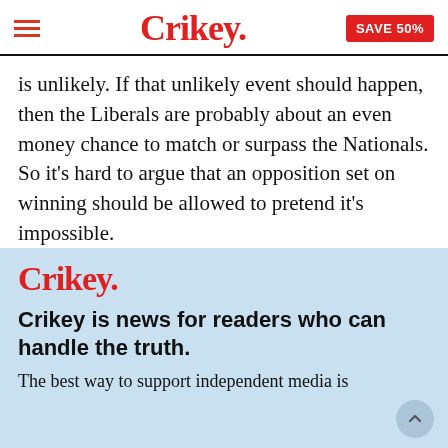Crikey. SAVE 50%
is unlikely. If that unlikely event should happen, then the Liberals are probably about an even money chance to match or surpass the Nationals. So it’s hard to argue that an opposition set on winning should be allowed to pretend it’s impossible.
[Figure (logo): Crikey. logo in red]
Crikey is news for readers who can handle the truth.
The best way to support independent media is